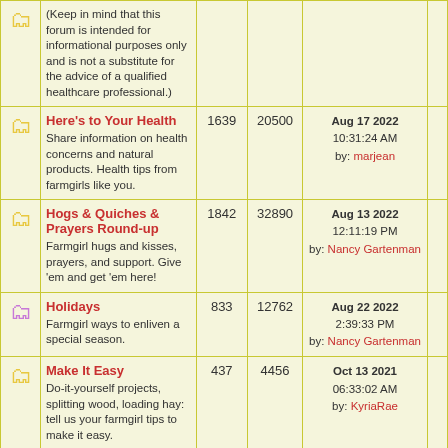|  | Forum | Topics | Posts | Last Post |  |
| --- | --- | --- | --- | --- | --- |
| [folder] | (Keep in mind that this forum is intended for informational purposes only and is not a substitute for the advice of a qualified healthcare professional.) |  |  |  |  |
| [folder] | Here's to Your Health
Share information on health concerns and natural products. Health tips from farmgirls like you. | 1639 | 20500 | Aug 17 2022
10:31:24 AM
by: marjean |  |
| [folder] | Hogs & Quiches & Prayers Round-up
Farmgirl hugs and kisses, prayers, and support. Give 'em and get 'em here! | 1842 | 32890 | Aug 13 2022
12:11:19 PM
by: Nancy Gartenman |  |
| [folder-purple] | Holidays
Farmgirl ways to enliven a special season. | 833 | 12762 | Aug 22 2022
2:39:33 PM
by: Nancy Gartenman |  |
| [folder] | Make It Easy
Do-it-yourself projects, splitting wood, loading hay: tell us your farmgirl tips to make it easy. | 437 | 4456 | Oct 13 2021
06:33:02 AM
by: KyriaRae |  |
| [folder] | Military Farmgirls
A place to discuss the joys and challenges of being a farmgirl in the military. | 12 | 69 | Nov 19 2020
11:06:16 AM
by: DeborahDeal |  |
| [folder-purple] | Nifty Thrifty
Discover how nifty it is to be thrifty as we repurpose, make | 532 | 7510 | Aug 30 2022
10:22:25 AM
by: Jokamartell |  |